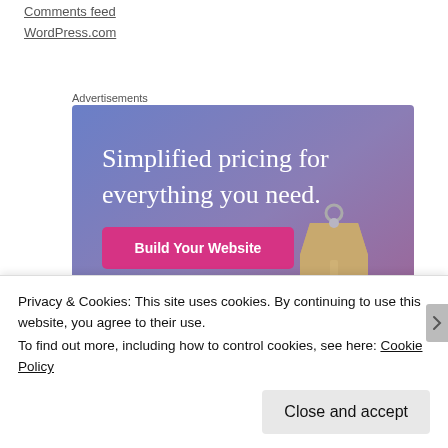Comments feed
WordPress.com
Advertisements
[Figure (illustration): WordPress.com advertisement: blue-purple gradient background with white serif text 'Simplified pricing for everything you need.' A pink button labeled 'Build Your Website' and a tan price tag graphic on the right.]
Privacy & Cookies: This site uses cookies. By continuing to use this website, you agree to their use.
To find out more, including how to control cookies, see here: Cookie Policy
Close and accept